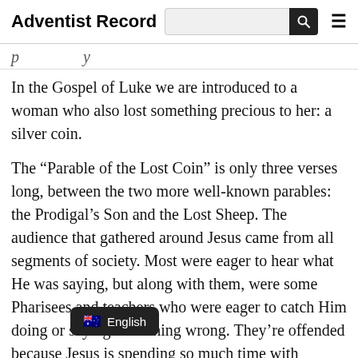Adventist Record
p ... y
In the Gospel of Luke we are introduced to a woman who also lost something precious to her: a silver coin.
The “Parable of the Lost Coin” is only three verses long, between the two more well-known parables: the Prodigal’s Son and the Lost Sheep. The audience that gathered around Jesus came from all segments of society. Most were eager to hear what He was saying, but along with them, were some Pharisees and teachers who were eager to catch Him doing or saying something wrong. They’re offended because Jesus is spending so much time with common people, to the point where He is eating with them. To eat with a sinner or tax collector was to defile oneself. The Pharisees saw themselves as guardians of tradition and strict adh... law. For a Pharisee, righteousness